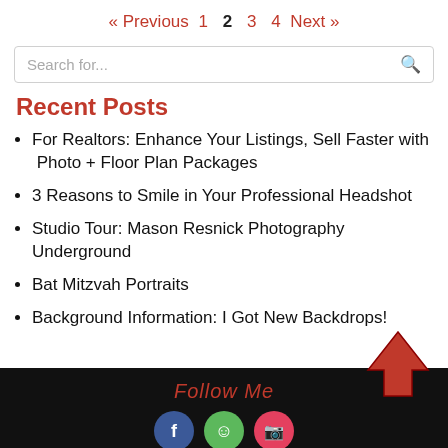« Previous  1  2  3  4  Next »
Search for...
Recent Posts
For Realtors: Enhance Your Listings, Sell Faster with  Photo + Floor Plan Packages
3 Reasons to Smile in Your Professional Headshot
Studio Tour: Mason Resnick Photography Underground
Bat Mitzvah Portraits
Background Information: I Got New Backdrops!
Follow Me